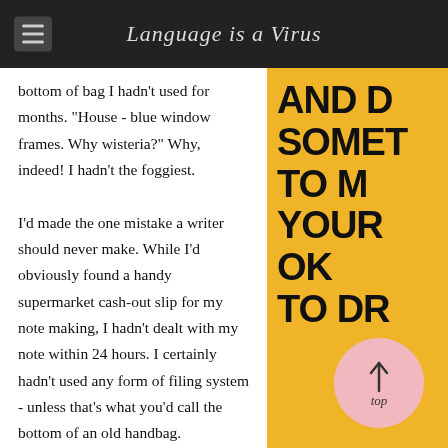Language is a Virus
bottom of bag I hadn't used for months. "House - blue window frames. Why wisteria?" Why, indeed! I hadn't the foggiest.

I'd made the one mistake a writer should never make. While I'd obviously found a handy supermarket cash-out slip for my note making, I hadn't dealt with my note within 24 hours. I certainly hadn't used any form of filing system - unless that's what you'd call the bottom of an old handbag.
[Figure (other): Yellow sidebar with large bold partial text reading 'AND D SOMET TO M YOUR OK TO DR' and a back-to-top button (pink circle with upward arrow and 'top' text)]